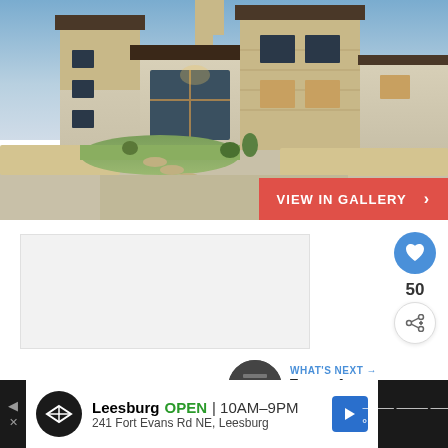[Figure (photo): Exterior photo of a modern Texas Hill Country style house with limestone stone facade, large windows, covered entrance, manicured landscaping with stone retaining walls and green lawn, photographed at dusk]
VIEW IN GALLERY ›
50
WHAT'S NEXT → Types of Stoves for...
Leesburg OPEN 10AM–9PM 241 Fort Evans Rd NE, Leesburg